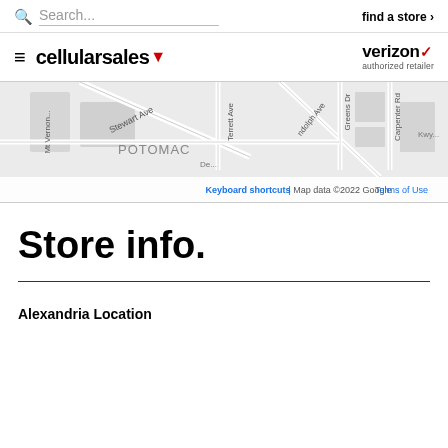Search... | find a store >
[Figure (logo): Cellular Sales logo with hamburger menu icon and Verizon authorized retailer logo]
[Figure (map): Google Map showing Potomac area with streets including Stewart Ave, Terrett Ave, Randolph Ave, Greens Dr, Carpenter Rd. Map data ©2022 Google. Shows Keyboard shortcuts | Map data ©2022 Google | Terms of Use at bottom.]
Store info.
Alexandria Location